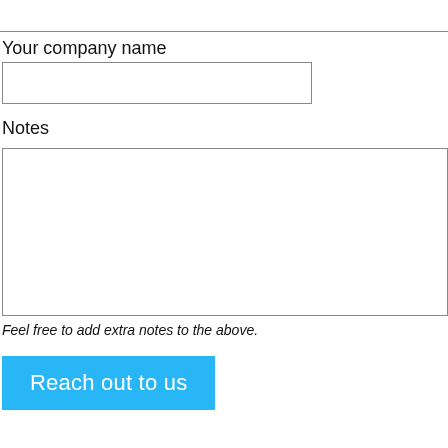(top input bar — empty text field)
Your company name
(company name input field)
Notes
(notes textarea)
Feel free to add extra notes to the above.
Reach out to us